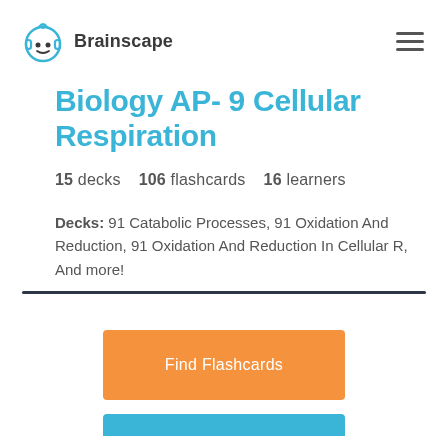Brainscape
Biology AP- 9 Cellular Respiration
15 decks   106 flashcards   16 learners
Decks: 91 Catabolic Processes, 91 Oxidation And Reduction, 91 Oxidation And Reduction In Cellular R, And more!
[Figure (other): Orange button labeled 'Find Flashcards']
[Figure (other): Partial blue button at bottom of page]